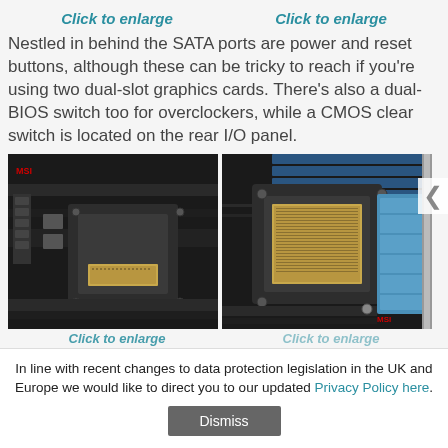Click to enlarge   Click to enlarge
Nestled in behind the SATA ports are power and reset buttons, although these can be tricky to reach if you're using two dual-slot graphics cards. There's also a dual-BIOS switch too for overclockers, while a CMOS clear switch is located on the rear I/O panel.
[Figure (photo): Close-up photo of MSI motherboard showing SATA ports area, power/reset buttons, CPU socket area with heat spreader and PCIe slots.]
[Figure (photo): Close-up photo of MSI motherboard showing CPU socket area with LGA contacts, RAM slots, and M.2 slot with blue heatsink.]
Click to enlarge   Click to enlarge (partially visible)
In line with recent changes to data protection legislation in the UK and Europe we would like to direct you to our updated Privacy Policy here.
Dismiss